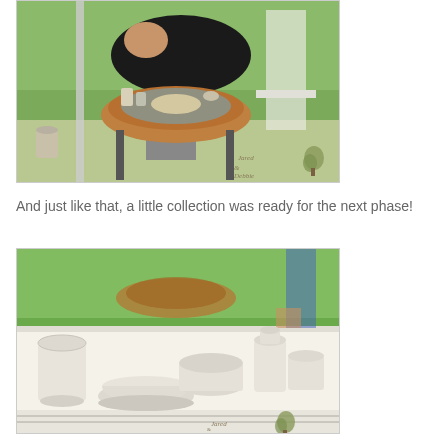[Figure (photo): Man leaning over a pottery wheel outdoors on green grass, throwing clay. Various tools and cups visible on the wheel tray. A watermark logo reading 'Jared & Debbie' with a tree icon appears in the bottom right of the photo.]
And just like that, a little collection was ready for the next phase!
[Figure (photo): Several unfired white clay pottery pieces arranged on a white cloth-covered table outdoors. Pieces include pots, bowls, and vases of various sizes. A pottery wheel is visible in the background on green grass.]